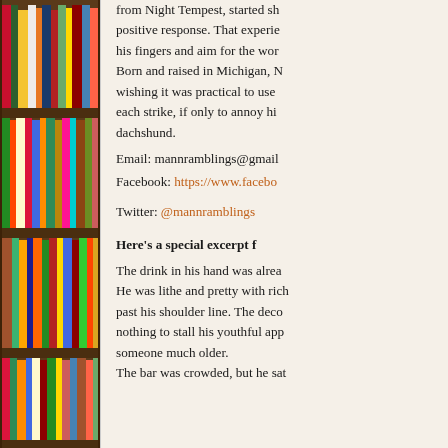[Figure (photo): A tall bookshelf filled with colorful books arranged vertically, with visible spines in various colors including red, green, yellow, blue, and white. The shelves are wooden and the books are tightly packed.]
from Night Tempest, started sh... positive response. That experie... his fingers and aim for the wor... Born and raised in Michigan, N... wishing it was practical to use ... each strike, if only to annoy hi... dachshund.
Email: mannramblings@gmail...
Facebook: https://www.facebo...
Twitter: @mannramblings
Here's a special excerpt f...
The drink in his hand was alrea... He was lithe and pretty with rich... past his shoulder line. The deco... nothing to stall his youthful app... someone much older.
The bar was crowded, but he sat...